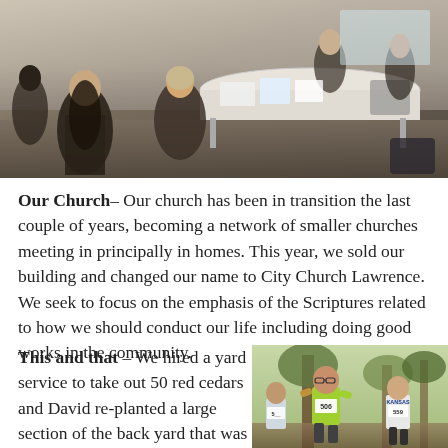[Figure (photo): People sitting around a table in a classroom or meeting room setting, appearing to be in discussion or study.]
Our Church– Our church has been in transition the last couple of years, becoming a network of smaller churches meeting in principally in homes. This year, we sold our building and changed our name to City Church Lawrence. We seek to focus on the emphasis of the Scriptures related to how we should conduct our life including doing good works in the community.
This and that – We hired a yard service to take out 50 red cedars and David re-planted a large section of the back yard that was
[Figure (photo): People running in a race outdoors, with runner number 506 in a bright green shirt in the foreground, and another runner in a Kansas shirt with number 559 behind him.]